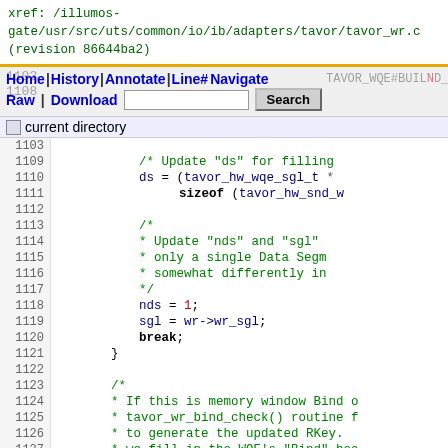xref: /illumos-gate/usr/src/uts/common/io/ib/adapters/tavor/tavor_wr.c (revision 86644ba2)
Home | History | Annotate | Line# | Tabs | Navigate | Raw | Download | Search | current directory
Code lines 1103-1131: tavor_wr.c source code viewer
[Figure (screenshot): Source code viewer showing C code lines 1103-1131 of tavor_wr.c with syntax highlighting. Contains code for updating ds, nds, sgl fields, a break statement, and comments about memory window bind operations.]